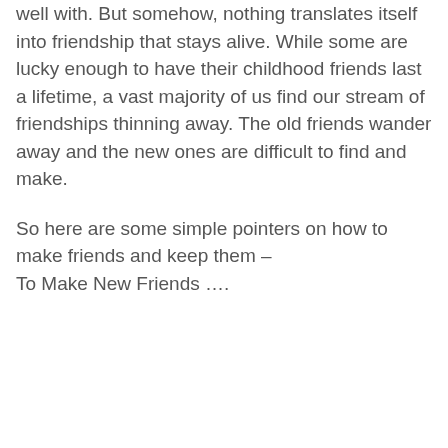well with. But somehow, nothing translates itself into friendship that stays alive. While some are lucky enough to have their childhood friends last a lifetime, a vast majority of us find our stream of friendships thinning away. The old friends wander away and the new ones are difficult to find and make.
So here are some simple pointers on how to make friends and keep them – To Make New Friends ….